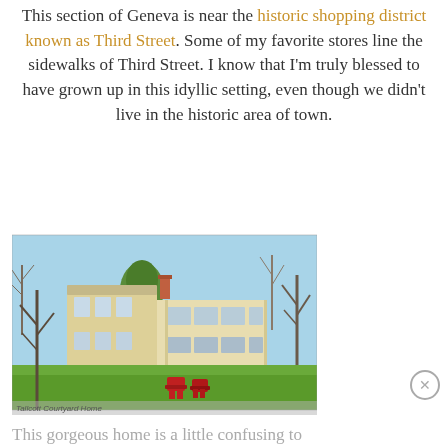This section of Geneva is near the historic shopping district known as Third Street. Some of my favorite stores line the sidewalks of Third Street. I know that I'm truly blessed to have grown up in this idyllic setting, even though we didn't live in the historic area of town.
[Figure (photo): Exterior photo of a large yellow two-story historic home with many windows, surrounded by bare trees, green lawn, and red Adirondack chairs in the foreground. Blue sky background.]
Tallcott Courtyard Home
This gorgeous home is a little confusing to